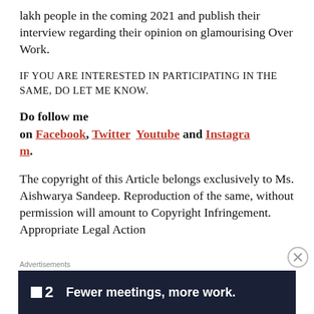lakh people in the coming 2021 and publish their interview regarding their opinion on glamourising Over Work.
IF YOU ARE INTERESTED IN PARTICIPATING IN THE SAME, DO LET ME KNOW.
Do follow me on Facebook, Twitter Youtube and Instagram.
The copyright of this Article belongs exclusively to Ms. Aishwarya Sandeep. Reproduction of the same, without permission will amount to Copyright Infringement. Appropriate Legal Action
Advertisements
[Figure (other): Advertisement banner with dark navy background showing a small white square logo next to the number 2 and text 'Fewer meetings, more work.']